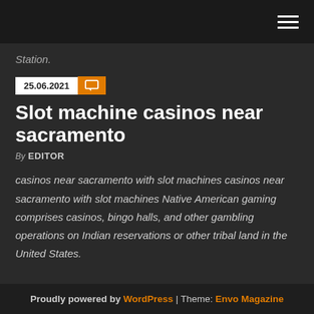Navigation bar with hamburger menu
Station.
25.06.2021
Slot machine casinos near sacramento
By EDITOR
casinos near sacramento with slot machines casinos near sacramento with slot machines Native American gaming comprises casinos, bingo halls, and other gambling operations on Indian reservations or other tribal land in the United States.
Proudly powered by WordPress | Theme: Envo Magazine